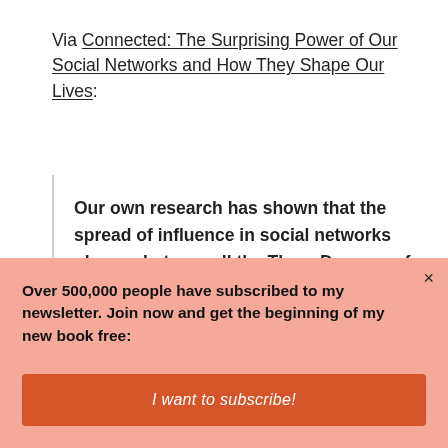Via Connected: The Surprising Power of Our Social Networks and How They Shape Our Lives:
Our own research has shown that the spread of influence in social networks obeys what we call the Three Degrees of Influence Rule. Everything we do or say tends to ripple through our network, having an impact on our friends (one degree)
Over 500,000 people have subscribed to my newsletter. Join now and get the beginning of my new book free:
I want to subscribe!